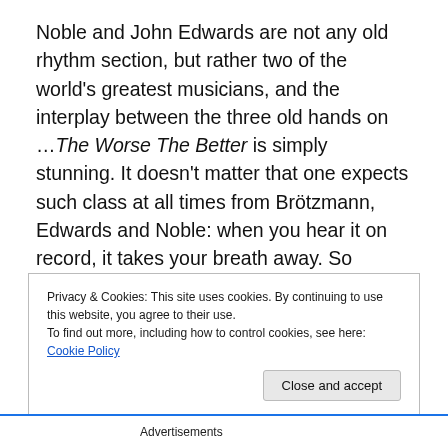Noble and John Edwards are not any old rhythm section, but rather two of the world's greatest musicians, and the interplay between the three old hands on …The Worse The Better is simply stunning. It doesn't matter that one expects such class at all times from Brötzmann, Edwards and Noble: when you hear it on record, it takes your breath away. So imagine hearing it live.
…The Worse the Better showcases Brötzmann in full barnstorming free jazz/fire music mode, which in itself differentiates this recording from the two more improv-y
Privacy & Cookies: This site uses cookies. By continuing to use this website, you agree to their use.
To find out more, including how to control cookies, see here: Cookie Policy
Close and accept
Advertisements